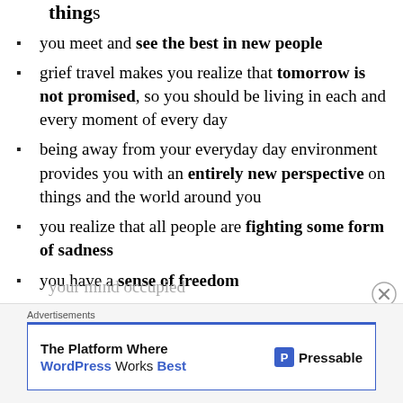things (partial, bold)
you meet and see the best in new people
grief travel makes you realize that tomorrow is not promised, so you should be living in each and every moment of every day
being away from your everyday day environment provides you with an entirely new perspective on things and the world around you
you realize that all people are fighting some form of sadness
you have a sense of freedom
You become more adventurous
exploring new things and meeting new people keeps your mind occupied
Advertisements
The Platform Where WordPress Works Best — Pressable